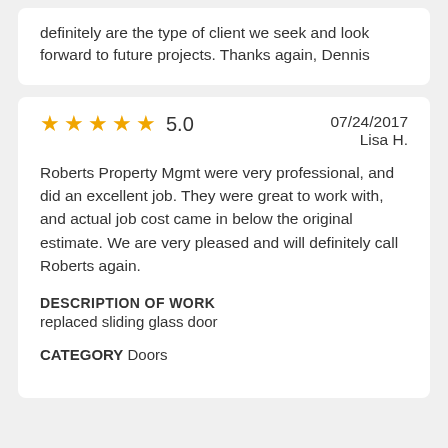definitely are the type of client we seek and look forward to future projects. Thanks again, Dennis
5.0   07/24/2017
Lisa H.

Roberts Property Mgmt were very professional, and did an excellent job. They were great to work with, and actual job cost came in below the original estimate. We are very pleased and will definitely call Roberts again.
DESCRIPTION OF WORK
replaced sliding glass door
CATEGORY Doors